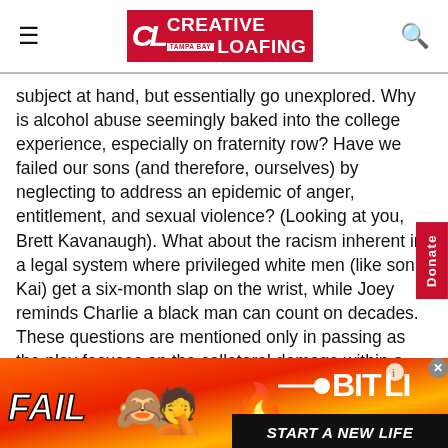Creative Loafing Tampa Bay
subject at hand, but essentially go unexplored. Why is alcohol abuse seemingly baked into the college experience, especially on fraternity row? Have we failed our sons (and therefore, ourselves) by neglecting to address an epidemic of anger, entitlement, and sexual violence? (Looking at you, Brett Kavanaugh). What about the racism inherent in a legal system where privileged white men (like son Kai) get a six-month slap on the wrist, while Joey reminds Charlie a black man can count on decades. These questions are mentioned only in passing as the play focuses on the collateral damage within a family and a marriage.
[Figure (other): Advertisement banner for BitLife mobile game featuring 'FAIL' text, facepalm emoji, flames, sperm logo, BitLife logo, and 'START A NEW LIFE' tagline on orange/red background]